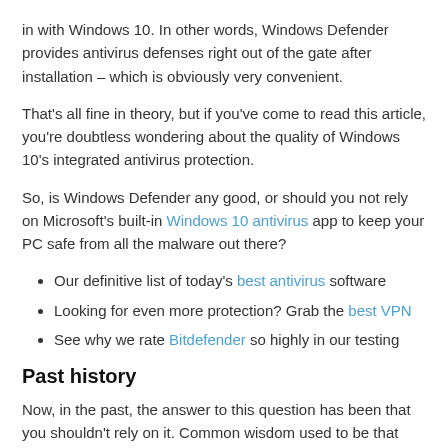in with Windows 10. In other words, Windows Defender provides antivirus defenses right out of the gate after installation – which is obviously very convenient.
That's all fine in theory, but if you've come to read this article, you're doubtless wondering about the quality of Windows 10's integrated antivirus protection.
So, is Windows Defender any good, or should you not rely on Microsoft's built-in Windows 10 antivirus app to keep your PC safe from all the malware out there?
Our definitive list of today's best antivirus software
Looking for even more protection? Grab the best VPN
See why we rate Bitdefender so highly in our testing
Past history
Now, in the past, the answer to this question has been that you shouldn't rely on it. Common wisdom used to be that Windows Defender might be better than nothing, but only just – and you